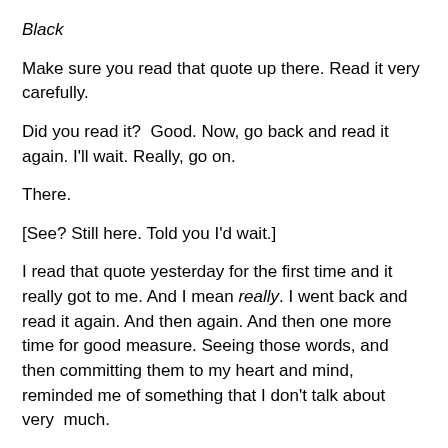Black
Make sure you read that quote up there. Read it very carefully.
Did you read it?  Good. Now, go back and read it again. I'll wait. Really, go on.
There.
[See? Still here. Told you I'd wait.]
I read that quote yesterday for the first time and it really got to me. And I mean really. I went back and read it again. And then again. And then one more time for good measure. Seeing those words, and then committing them to my heart and mind, reminded me of something that I don't talk about very  much.